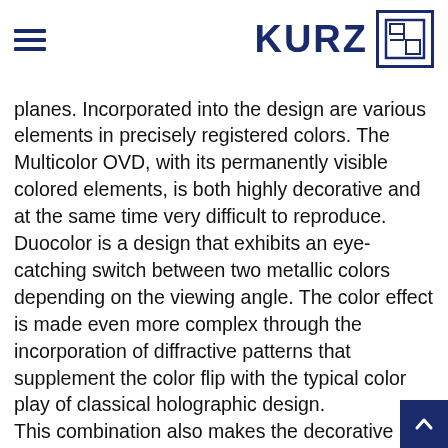KURZ
planes. Incorporated into the design are various elements in precisely registered colors. The Multicolor OVD, with its permanently visible colored elements, is both highly decorative and at the same time very difficult to reproduce. Duocolor is a design that exhibits an eye-catching switch between two metallic colors depending on the viewing angle. The color effect is made even more complex through the incorporation of diffractive patterns that supplement the color flip with the typical color play of classical holographic design. This combination also makes the decorative design easy to verify. To view the color and spatial effects of these